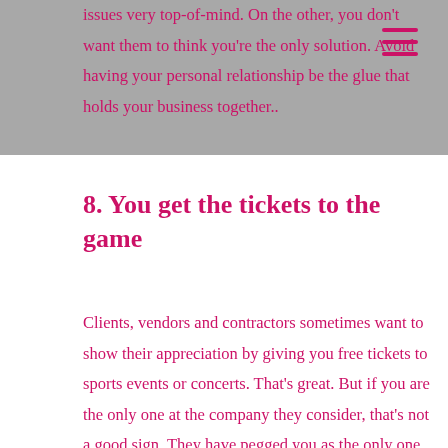issues very top-of-mind. On the other, you don't want them to think you're the only solution. Avoid having your personal relationship be the glue that holds your business together..
8. You get the tickets to the game
Clients, vendors and contractors sometimes want to show their appreciation by giving you free tickets to sports events or concerts. That's great. But if you are the only one at the company they consider, that's not a good sign. They have pegged you as the only one worthy of their generosity. Try